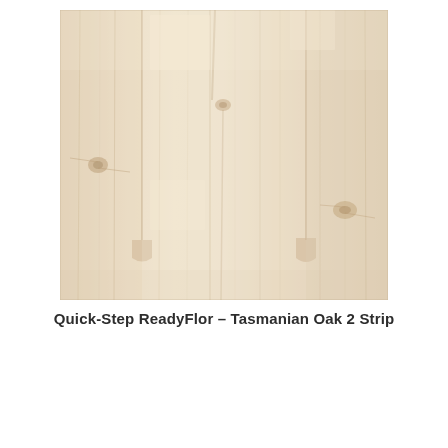[Figure (photo): Close-up photograph of Quick-Step ReadyFlor Tasmanian Oak 2 Strip hardwood flooring showing light beige/cream wood grain texture with vertical plank strips and natural wood knots and grain patterns.]
Quick-Step ReadyFlor – Tasmanian Oak 2 Strip